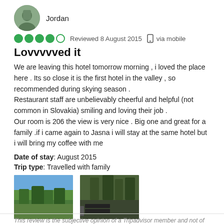[Figure (photo): Circular avatar photo of user Jordan showing a person outdoors]
Jordan
●●●●○ Reviewed 8 August 2015  via mobile
Lovvvvved it
We are leaving this hotel tomorrow morning , i loved the place here . Its so close it is the first hotel in the valley , so recommended during skying season .
Restaurant staff are unbelievably cheerful and helpful (not common in Slovakia) smiling and loving their job .
Our room is 206 the view is very nice . Big one and great for a family .if i came again to Jasna i will stay at the same hotel but i will bring my coffee with me
Date of stay: August 2015
Trip type: Travelled with family
[Figure (photo): Photo of forested hillside with blue sky]
[Figure (photo): Photo of forested view from a balcony with railing]
Thank farahfarid
This review is the subjective opinion of a Tripadvisor member and not of